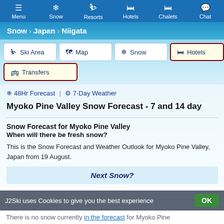Menu | Snow | Resorts | Hotels | Chalets | Chat
Snow > Japan > Niigata
Ski Area | Map | Snow | Hotels | Transfers
❄ 48Hr Forecast | ⚙ 7-Day Weather
Myoko Pine Valley Snow Forecast - 7 and 14 day
Snow Forecast for Myoko Pine Valley
When will there be fresh snow?
This is the Snow Forecast and Weather Outlook for Myoko Pine Valley, Japan from 19 August.
Next Snow?
J2Ski uses Cookies to give you the best experience
There is no snow currently in the forecast for Myoko Pine